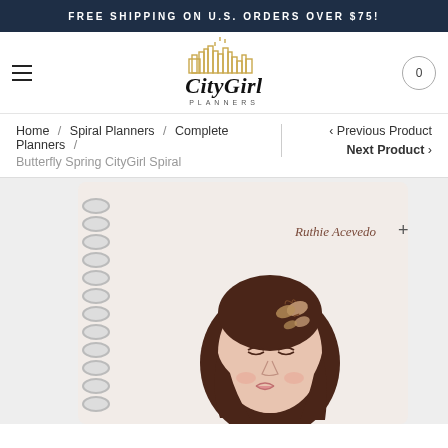FREE SHIPPING ON U.S. ORDERS OVER $75!
[Figure (logo): CityGirl Planners logo with cityscape silhouette above the text]
Home / Spiral Planners / Complete Planners / Butterfly Spring CityGirl Spiral
‹ Previous Product   Next Product ›
[Figure (photo): Spiral planner with illustrated cover showing a woman with dark hair and a butterfly hair clip, text 'Ruthie Acevedo' on cover. Plus icon visible at top right of cover.]